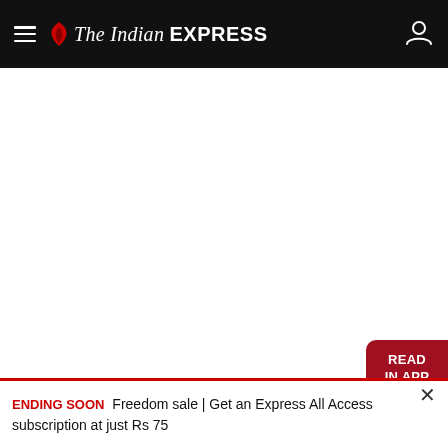The Indian EXPRESS
[Figure (screenshot): White blank content area of a news article page]
[Figure (other): READ IN APP button — dark red rounded button on right side]
ENDING SOON Freedom sale | Get an Express All Access subscription at just Rs 75